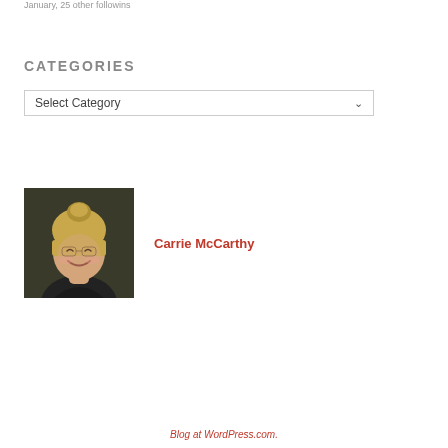January, 25 other followins
CATEGORIES
Select Category
[Figure (photo): Portrait photo of a blonde woman with hair up in a bun, smiling, wearing a black top, dark background]
Carrie McCarthy
Blog at WordPress.com.